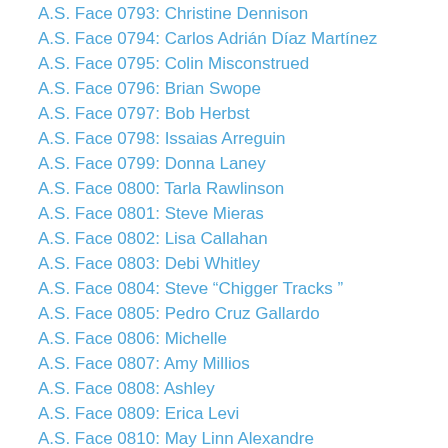A.S. Face 0793: Christine Dennison
A.S. Face 0794: Carlos Adrián Díaz Martínez
A.S. Face 0795: Colin Misconstrued
A.S. Face 0796: Brian Swope
A.S. Face 0797: Bob Herbst
A.S. Face 0798: Issaias Arreguin
A.S. Face 0799: Donna Laney
A.S. Face 0800: Tarla Rawlinson
A.S. Face 0801: Steve Mieras
A.S. Face 0802: Lisa Callahan
A.S. Face 0803: Debi Whitley
A.S. Face 0804: Steve “Chigger Tracks ”
A.S. Face 0805: Pedro Cruz Gallardo
A.S. Face 0806: Michelle
A.S. Face 0807: Amy Millios
A.S. Face 0808: Ashley
A.S. Face 0809: Erica Levi
A.S. Face 0810: May Linn Alexandre
A.S. Face 0811: Christine
A.S. Face 0812: Ted Basile Jr